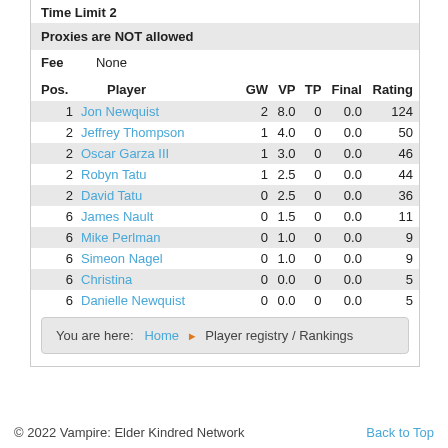Time Limit 2
Proxies are NOT allowed
Fee    None
| Pos. | Player | GW | VP | TP | Final | Rating |
| --- | --- | --- | --- | --- | --- | --- |
| 1 | Jon Newquist | 2 | 8.0 | 0 | 0.0 | 124 |
| 2 | Jeffrey Thompson | 1 | 4.0 | 0 | 0.0 | 50 |
| 2 | Oscar Garza III | 1 | 3.0 | 0 | 0.0 | 46 |
| 2 | Robyn Tatu | 1 | 2.5 | 0 | 0.0 | 44 |
| 2 | David Tatu | 0 | 2.5 | 0 | 0.0 | 36 |
| 6 | James Nault | 0 | 1.5 | 0 | 0.0 | 11 |
| 6 | Mike Perlman | 0 | 1.0 | 0 | 0.0 | 9 |
| 6 | Simeon Nagel | 0 | 1.0 | 0 | 0.0 | 9 |
| 6 | Christina | 0 | 0.0 | 0 | 0.0 | 5 |
| 6 | Danielle Newquist | 0 | 0.0 | 0 | 0.0 | 5 |
You are here: Home ▶ Player registry / Rankings
© 2022 Vampire: Elder Kindred Network    Back to Top